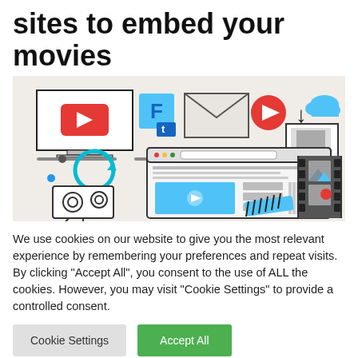sites to embed your movies
[Figure (illustration): Flat design illustration showing video/media embedding concept with YouTube player, social media icons, laptop showing a video website, film strip, cloud, and camera icons on a beige background]
We use cookies on our website to give you the most relevant experience by remembering your preferences and repeat visits. By clicking "Accept All", you consent to the use of ALL the cookies. However, you may visit "Cookie Settings" to provide a controlled consent.
Cookie Settings | Accept All